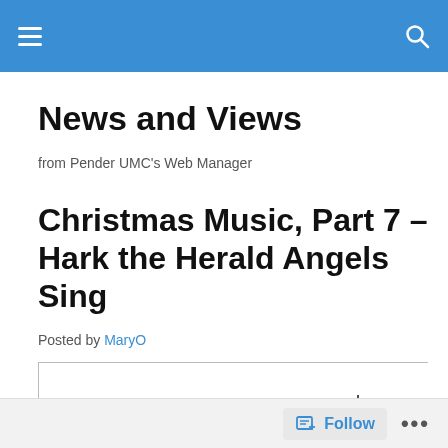News and Views – site navigation header bar
News and Views
from Pender UMC's Web Manager
Christmas Music, Part 7 – Hark the Herald Angels Sing
Posted by MaryO
[Figure (illustration): Sheet music for 'Hark the Herald Angels Sing' showing treble clef notation with four verses of lyrics: 1. Hark! the her-ald an-gels sing, "Glo-ry to the new-born King! 2. Christ, by high-est heav'n a-dored Christ, the ev-er-last-ing Lord; 3. Hail! the heav'n-born Prince of peace! Hail! the Son of Right-eous-ness! 4. Come, De-sire of na-tions come, Fix in us Thy hum-ble home;]
Follow ...